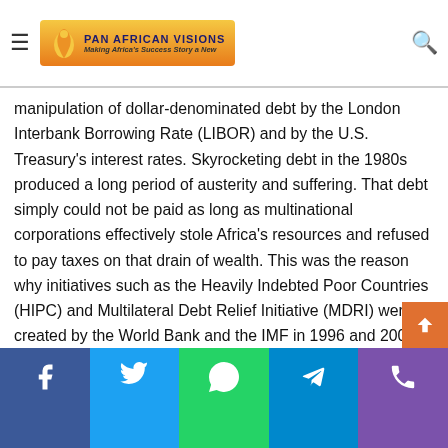Pan African Visions — Making Africa's Success Story a New
manipulation of dollar-denominated debt by the London Interbank Borrowing Rate (LIBOR) and by the U.S. Treasury's interest rates. Skyrocketing debt in the 1980s produced a long period of austerity and suffering. That debt simply could not be paid as long as multinational corporations effectively stole Africa's resources and refused to pay taxes on that drain of wealth. This was the reason why initiatives such as the Heavily Indebted Poor Countries (HIPC) and Multilateral Debt Relief Initiative (MDRI) were created by the World Bank and the IMF in 1996 and 2005, respectively. By 2017, these initiatives provided $99 billion to reduce Africa's debts from a debt-to-GNI (Gross National Income) ratio of 119 percent to 45 percent.
Facebook | Twitter | WhatsApp | Telegram | Phone